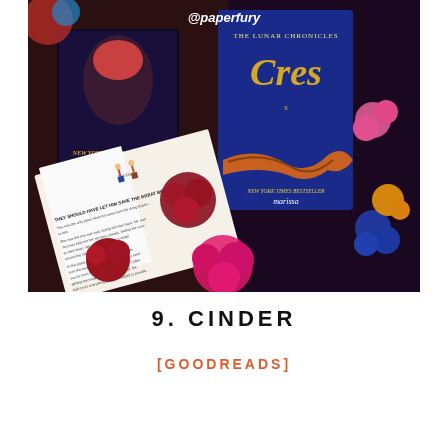[Figure (photo): Photograph of two books — one appears to be a dark-covered Marissa Meyer book (New York Times Bestseller, marissa meyer) and the other is a blue book titled 'Cress' from The Lunar Chronicles series (also by Marissa Meyer, New York Times Bestseller). An open book with text visible is in the foreground. Cartoon character stickers labeled 'Thirlee' are placed on the open book. The books are surrounded by colorful paper flowers in red/burgundy, pink, blue, and orange. The Instagram handle @paperfury appears at the top.]
9. CINDER
[GOODREADS]